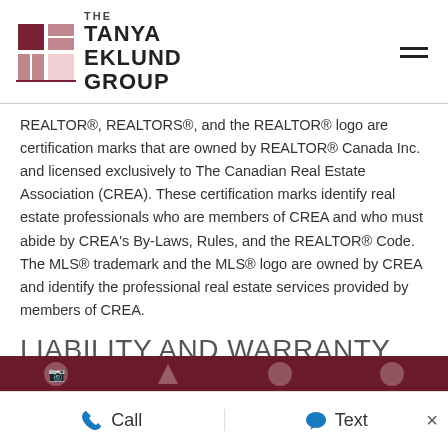[Figure (logo): The Tanya Eklund Group logo with geometric square icon and text]
REALTOR®, REALTORS®, and the REALTOR® logo are certification marks that are owned by REALTOR® Canada Inc. and licensed exclusively to The Canadian Real Estate Association (CREA). These certification marks identify real estate professionals who are members of CREA and who must abide by CREA's By-Laws, Rules, and the REALTOR® Code. The MLS® trademark and the MLS® logo are owned by CREA and identify the professional real estate services provided by members of CREA.
LIABILITY AND WARRANTY DISCLAIMER
The information contained on this website is based in whole or in part on information that is provided by members of CREA, who are
Call   Text